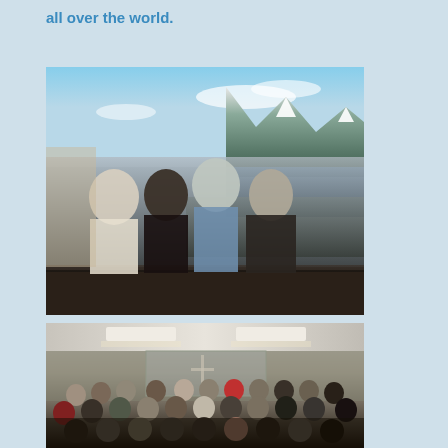all over the world.
[Figure (photo): Four people posing together on a terrace or balcony with a panoramic view of snow-capped mountains, a lake, and a city below. Blue sky with light clouds in the background.]
[Figure (photo): Large group of approximately 30 people posing together indoors in what appears to be an office or conference room. The group is arranged in rows, with some seated and some standing.]